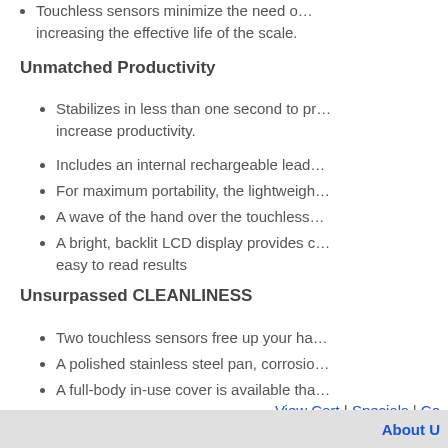Touchless sensors minimize the need … increasing the effective life of the scale.
Unmatched Productivity
Stabilizes in less than one second to pr… increase productivity.
Includes an internal rechargeable lead…
For maximum portability, the lightweigh…
A wave of the hand over the touchless…
A bright, backlit LCD display provides c… easy to read results
Unsurpassed CLEANLINESS
Two touchless sensors free up your ha…
A polished stainless steel pan, corrosio…
A full-body in-use cover is available tha…
View Cart | Specials | Co…
About U…